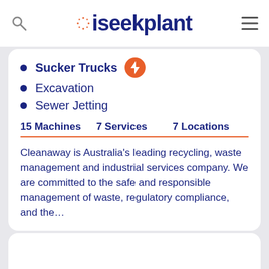iseekplant
Sucker Trucks
Excavation
Sewer Jetting
15 Machines   7 Services   7 Locations
Cleanaway is Australia's leading recycling, waste management and industrial services company. We are committed to the safe and responsible management of waste, regulatory compliance, and the...
Display Phone   Get a Quote